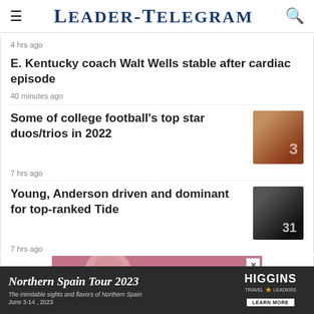Leader-Telegram
4 hrs ago
E. Kentucky coach Walt Wells stable after cardiac episode
40 minutes ago
Some of college football's top star duos/trios in 2022
7 hrs ago
Young, Anderson driven and dominant for top-ranked Tide
7 hrs ago
[Figure (photo): Advertisement banner showing a woman with highlighted hair, pink/mauve toned image]
[Figure (photo): Bottom advertisement banner: Northern Spain Tour 2023, The inimitable sights and flavors of Northern Spain, June 3-14, 2023, Higgins Travel Leaders, Learn More]